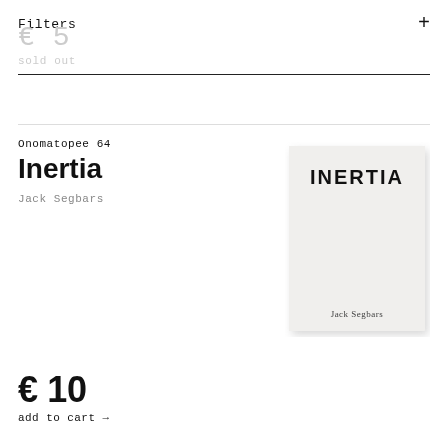Filters +
€ 5
sold out
Onomatopee 64
Inertia
Jack Segbars
[Figure (illustration): Book cover for 'Inertia' by Jack Segbars. White/light grey cover with bold black text 'INERTIA' at the top and 'Jack Segbars' in smaller text at the bottom.]
€ 10
add to cart →